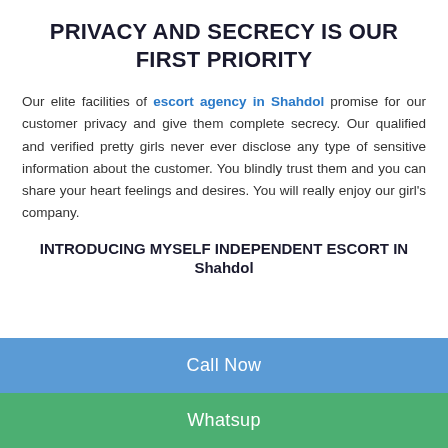PRIVACY AND SECRECY IS OUR FIRST PRIORITY
Our elite facilities of escort agency in Shahdol promise for our customer privacy and give them complete secrecy. Our qualified and verified pretty girls never ever disclose any type of sensitive information about the customer. You blindly trust them and you can share your heart feelings and desires. You will really enjoy our girl's company.
INTRODUCING MYSELF INDEPENDENT ESCORT IN Shahdol
Call Now
Whatsup